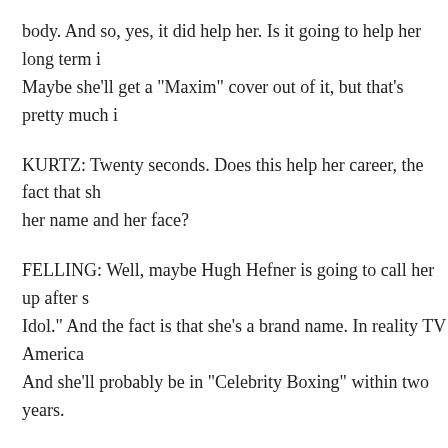body. And so, yes, it did help her. Is it going to help her long term i Maybe she'll get a "Maxim" cover out of it, but that's pretty much i
KURTZ: Twenty seconds. Does this help her career, the fact that sh her name and her face?
FELLING: Well, maybe Hugh Hefner is going to call her up after s Idol." And the fact is that she's a brand name. In reality TV America And she'll probably be in "Celebrity Boxing" within two years.
KURTZ: All right. There's the prediction.
Matthew Felling, Jessica Shaw, thanks very much for joining us.
When we come back, Bob Woodruff returns to television after his o a special that's about more than just his ordeal.